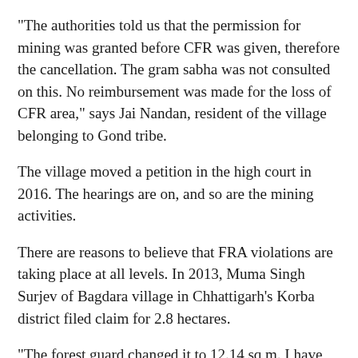"The authorities told us that the permission for mining was granted before CFR was given, therefore the cancellation. The gram sabha was not consulted on this. No reimbursement was made for the loss of CFR area," says Jai Nandan, resident of the village belonging to Gond tribe.
The village moved a petition in the high court in 2016. The hearings are on, and so are the mining activities.
There are reasons to believe that FRA violations are taking place at all levels. In 2013, Muma Singh Surjev of Bagdara village in Chhattigarh's Korba district filed claim for 2.8 hectares.
"The forest guard changed it to 12.14 sq m. I have not received anything yet. Whenever I ask for it, I am told that it is being processed."
In many districts of Chhattisgarh, FRCs are formed at